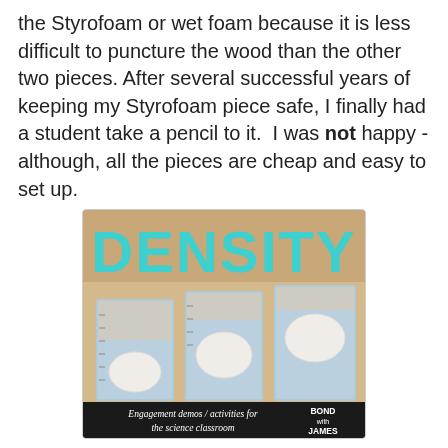the Styrofoam or wet foam because it is less difficult to puncture the wood than the other two pieces. After several successful years of keeping my Styrofoam piece safe, I finally had a student take a pencil to it.  I was not happy - although, all the pieces are cheap and easy to set up.
[Figure (photo): Photo of three glass beakers containing eggs at different water levels illustrating density, with large teal block letters spelling DENSITY at the top, and text at the bottom reading 'Engagement demos / activities for the science classroom' with 'BOND with JAMES' logo at bottom right.]
This next part includes several videos of demos or activities you may do with your students.  Due to the fact that several of my students have seen some of these, I actually have these set up as stations in the